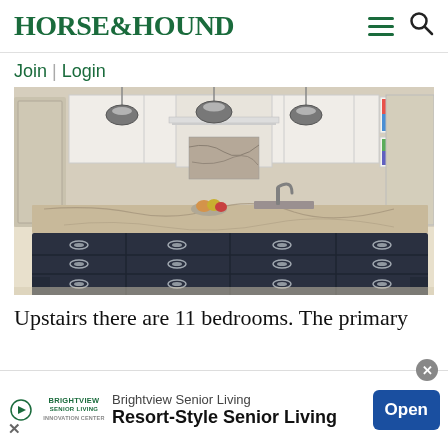HORSE&HOUND
Join | Login
[Figure (photo): A large kitchen island with dark navy cabinetry and silver cup-pull hardware, marble/granite countertop, with white upper cabinets, pendant lights, and colorful artwork visible in background.]
Upstairs there are 11 bedrooms. The primary
Brightview Senior Living
Resort-Style Senior Living
Open